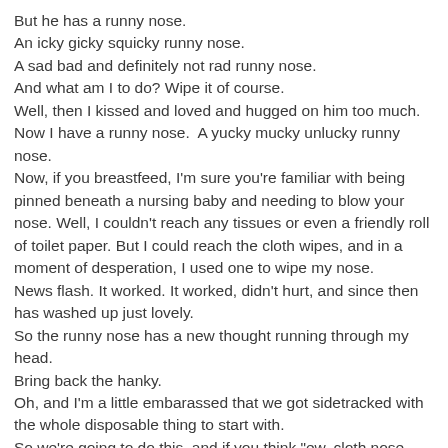But he has a runny nose.
An icky gicky squicky runny nose.
A sad bad and definitely not rad runny nose.
And what am I to do? Wipe it of course.
Well, then I kissed and loved and hugged on him too much.
Now I have a runny nose.  A yucky mucky unlucky runny nose.
Now, if you breastfeed, I'm sure you're familiar with being pinned beneath a nursing baby and needing to blow your nose. Well, I couldn't reach any tissues or even a friendly roll of toilet paper. But I could reach the cloth wipes, and in a moment of desperation, I used one to wipe my nose.
News flash. It worked. It worked, didn't hurt, and since then has washed up just lovely.
So the runny nose has a new thought running through my head.
Bring back the hanky.
Oh, and I'm a little embarassed that we got sidetracked with the whole disposable thing to start with.
So we're going to do this, and if you think "ew, cloth nose wipes, that's gross..."